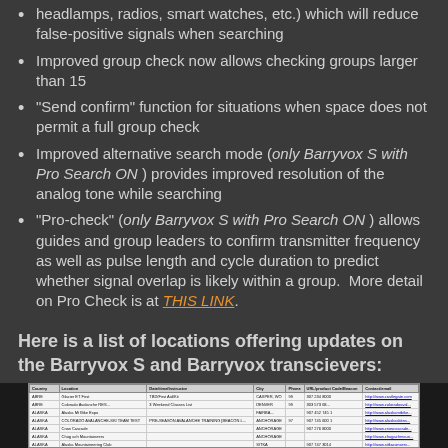headlamps, radios, smart watches, etc.) which will reduce false-positive signals when searching
Improved group check now allows checking groups larger than 15
"Send confirm" function for situations when space does not permit a full group check
Improved alternative search mode (only Barryvox S with Pro Search ON) provides improved resolution of the analog tone while searching
"Pro-check" (only Barryvox S with Pro Search ON) allows guides and group leaders to confirm transmitter frequency as well as pulse length and cycle duration to predict whether signal overlap is likely within a group. More detail on Pro Check is at THIS LINK.
Here is a list of locations offering updates on the Barryvox S and Barryvox transcievers:
[Figure (table-as-image): A table listing locations offering updates on the Barryvox S and Barryvox transcievers, with columns for country, location, date/time, city, phone, and website/contact links.]